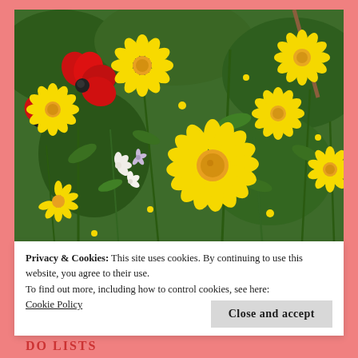[Figure (photo): A field of wildflowers including yellow daisies/marigolds, red poppies, and white flowers with green stems and leaves in the background.]
Privacy & Cookies: This site uses cookies. By continuing to use this website, you agree to their use.
To find out more, including how to control cookies, see here:
Cookie Policy
Close and accept
DO LISTS